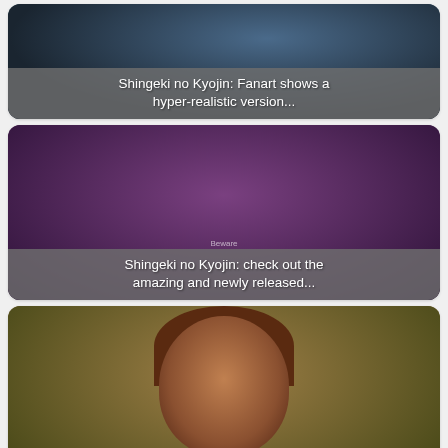[Figure (photo): Anime fanart image with dark background showing a character, with overlay text card for Shingeki no Kyojin fanart article]
Shingeki no Kyojin: Fanart shows a hyper-realistic version...
[Figure (photo): Photo of a person singing/performing with purple background, with 'Beware' watermark and overlay text card for Shingeki no Kyojin music article]
Shingeki no Kyojin: check out the amazing and newly released...
[Figure (photo): Anime screenshot of Mikasa character from Attack on Titan with outdoor background and overlay text card for cosplay article]
A Maria Fernanda cosplay shows us a version of Mikasa...
[Figure (photo): Partially visible anime image at bottom of page, cut off]